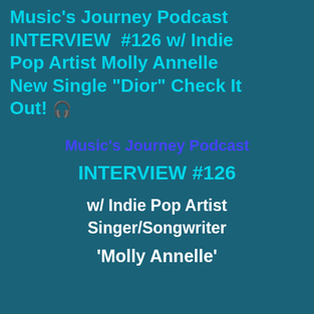Music's Journey Podcast INTERVIEW #126 w/ Indie Pop Artist Molly Annelle New Single "Dior" Check It Out! 🎧
Music's Journey Podcast
INTERVIEW #126
w/ Indie Pop Artist Singer/Songwriter
'Molly Annelle'